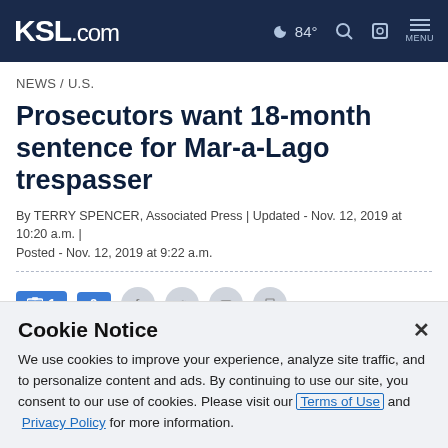KSL.com — 84° MENU
NEWS / U.S.
Prosecutors want 18-month sentence for Mar-a-Lago trespasser
By TERRY SPENCER, Associated Press | Updated - Nov. 12, 2019 at 10:20 a.m. | Posted - Nov. 12, 2019 at 9:22 a.m.
[Figure (other): Social share bar with photo count (1), comment count (0), Facebook, Twitter, email, and print icons]
Cookie Notice
We use cookies to improve your experience, analyze site traffic, and to personalize content and ads. By continuing to use our site, you consent to our use of cookies. Please visit our Terms of Use and Privacy Policy for more information.